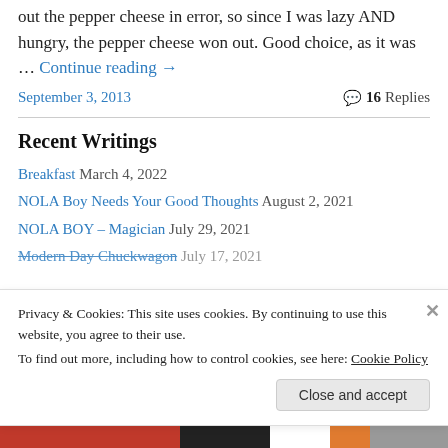out the pepper cheese in error, so since I was lazy AND hungry, the pepper cheese won out. Good choice, as it was … Continue reading →
September 3, 2013   💬 16 Replies
Recent Writings
Breakfast March 4, 2022
NOLA Boy Needs Your Good Thoughts August 2, 2021
NOLA BOY – Magician July 29, 2021
Modern Day Chuckwagon July 17, 2021
Privacy & Cookies: This site uses cookies. By continuing to use this website, you agree to their use. To find out more, including how to control cookies, see here: Cookie Policy